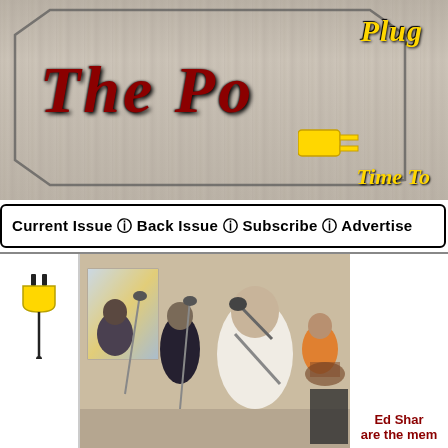[Figure (illustration): Magazine header banner with wood-grain background, coffin/hexagon shaped outline, italic 'Plug' text in yellow, decorative 'The Po' text in dark red cursive, yellow electric plug icon, and 'Time To' text in yellow italic]
Current Issue Ⓘ Back Issue Ⓘ Subscribe Ⓘ Advertise
[Figure (illustration): Yellow electric plug icon in left sidebar]
[Figure (photo): Band performing on stage: several musicians with microphones and instruments including guitars, playing indoors in what appears to be a church or hall setting]
Ed Shar are the mem